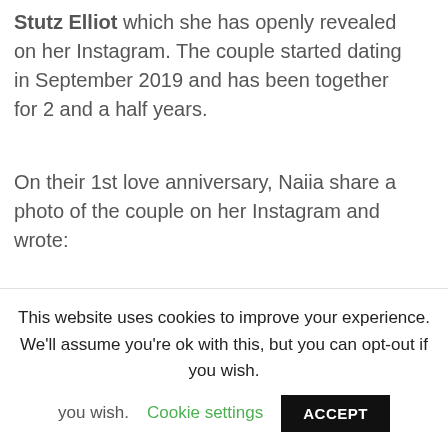Stutz Elliot which she has openly revealed on her Instagram. The couple started dating in September 2019 and has been together for 2 and a half years.
On their 1st love anniversary, Naiia share a photo of the couple on her Instagram and wrote:
1 whole year with my love 🤩❤ happy new year!!! 🥰🥰🥰🥰
[Figure (photo): Photo of a person lying on a colorful striped blanket outdoors]
This website uses cookies to improve your experience. We'll assume you're ok with this, but you can opt-out if you wish. Cookie settings ACCEPT